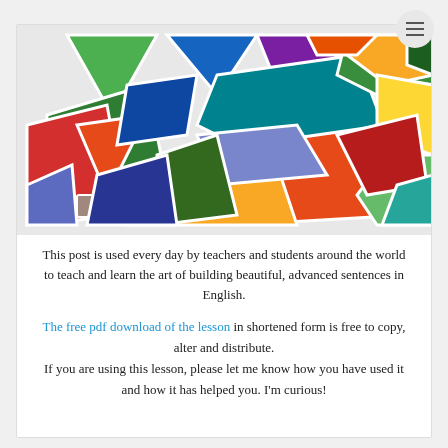[Figure (illustration): Colorful stained-glass mosaic illustration with geometric shapes in green, red, blue, orange, yellow, teal, and purple colors arranged in a patchwork pattern.]
This post is used every day by teachers and students around the world to teach and learn the art of building beautiful, advanced sentences in English.
The free pdf download of the lesson in shortened form is free to copy, alter and distribute. If you are using this lesson, please let me know how you have used it and how it has helped you. I'm curious!